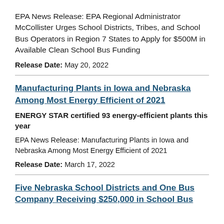EPA News Release: EPA Regional Administrator McCollister Urges School Districts, Tribes, and School Bus Operators in Region 7 States to Apply for $500M in Available Clean School Bus Funding
Release Date: May 20, 2022
Manufacturing Plants in Iowa and Nebraska Among Most Energy Efficient of 2021
ENERGY STAR certified 93 energy-efficient plants this year
EPA News Release: Manufacturing Plants in Iowa and Nebraska Among Most Energy Efficient of 2021
Release Date: March 17, 2022
Five Nebraska School Districts and One Bus Company Receiving $250,000 in School Bus